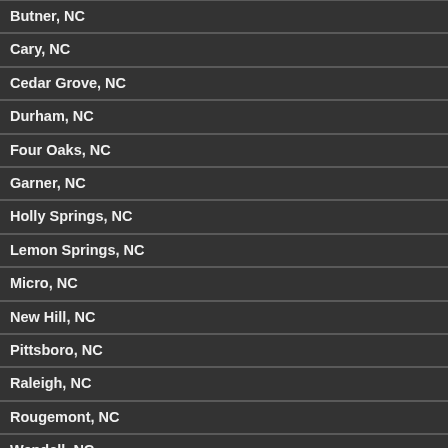Butner, NC
Cary, NC
Cedar Grove, NC
Durham, NC
Four Oaks, NC
Garner, NC
Holly Springs, NC
Lemon Springs, NC
Micro, NC
New Hill, NC
Pittsboro, NC
Raleigh, NC
Rougemont, NC
Wendell, NC